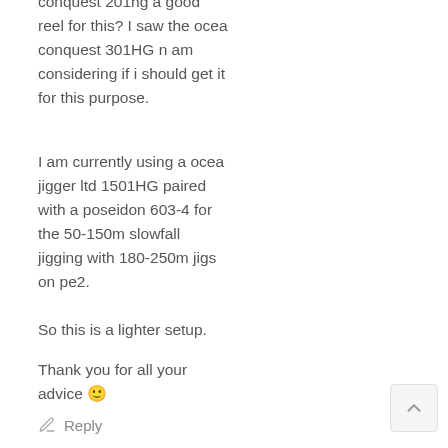conquest 201hg a good reel for this? I saw the ocea conquest 301HG n am considering if i should get it for this purpose.
I am currently using a ocea jigger ltd 1501HG paired with a poseidon 603-4 for the 50-150m slowfall jigging with 180-250m jigs on pe2.
So this is a lighter setup.
Thank you for all your advice 🙂
✏ Reply